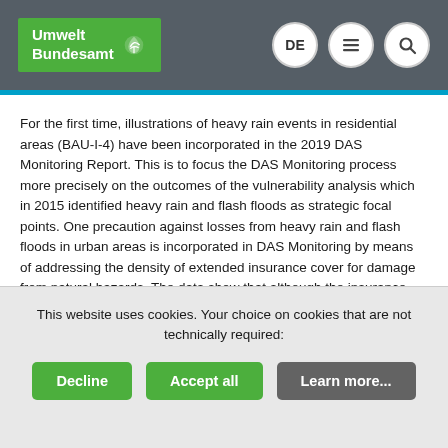Umwelt Bundesamt
For the first time, illustrations of heavy rain events in residential areas (BAU-I-4) have been incorporated in the 2019 DAS Monitoring Report. This is to focus the DAS Monitoring process more precisely on the outcomes of the vulnerability analysis which in 2015 identified heavy rain and flash floods as strategic focal points. One precaution against losses from heavy rain and flash floods in urban areas is incorporated in DAS Monitoring by means of addressing the density of extended insurance cover for damage from natural hazards. The data show that although the insurance density has increased significantly in recent years, looking at it nationwide, it is still relatively low, i.e. with 43% for building insurance and with 24% for building contents insurance.
This website uses cookies. Your choice on cookies that are not technically required: